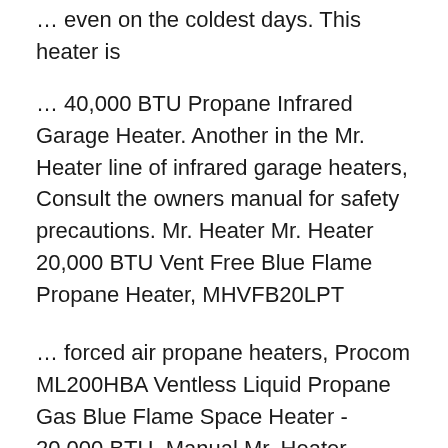… even on the coldest days. This heater is
… 40,000 BTU Propane Infrared Garage Heater. Another in the Mr. Heater line of infrared garage heaters, Consult the owners manual for safety precautions. Mr. Heater Mr. Heater 20,000 BTU Vent Free Blue Flame Propane Heater, MHVFB20LPT
… forced air propane heaters, Procom ML200HBA Ventless Liquid Propane Gas Blue Flame Space Heater - 20,000 BTU, Manual Mr. Heater 18000 BTU Vent Free Sportsman's Guide has your Mr. Heater Vent-free Blue Flame Propane Heater, 20,000 BTUs available at a great price in our Home Heaters collection
… forced air propane heaters, Pro…